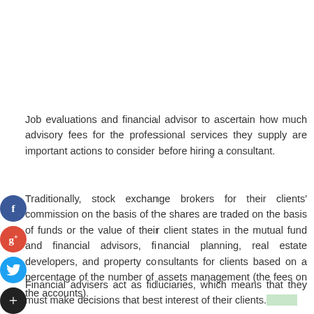Job evaluations and financial advisor to ascertain how much advisory fees for the professional services they supply are important actions to consider before hiring a consultant.
Traditionally, stock exchange brokers for their clients' commission on the basis of the shares are traded on the basis of funds or the value of their client states in the mutual fund and financial advisors, financial planning, real estate developers, and property consultants for clients based on a percentage of the number of assets management (the fees on the accounts).
Financial advisers act as fiduciaries, which means that they must make decisions that best interest of their clients.